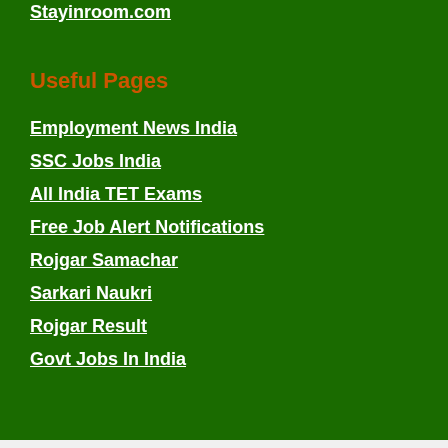Stayinroom.com
Useful Pages
Employment News India
SSC Jobs India
All India TET Exams
Free Job Alert Notifications
Rojgar Samachar
Sarkari Naukri
Rojgar Result
Govt Jobs In India